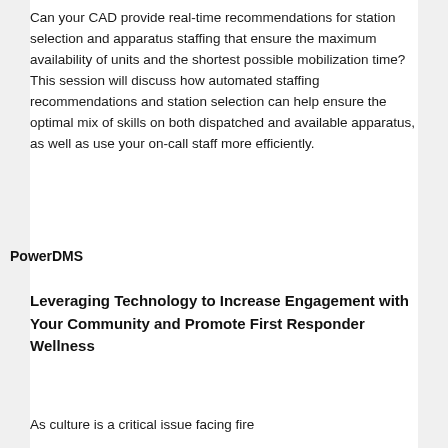Can your CAD provide real-time recommendations for station selection and apparatus staffing that ensure the maximum availability of units and the shortest possible mobilization time? This session will discuss how automated staffing recommendations and station selection can help ensure the optimal mix of skills on both dispatched and available apparatus, as well as use your on-call staff more efficiently.
PowerDMS
Leveraging Technology to Increase Engagement with Your Community and Promote First Responder Wellness
As culture is a critical issue facing fire